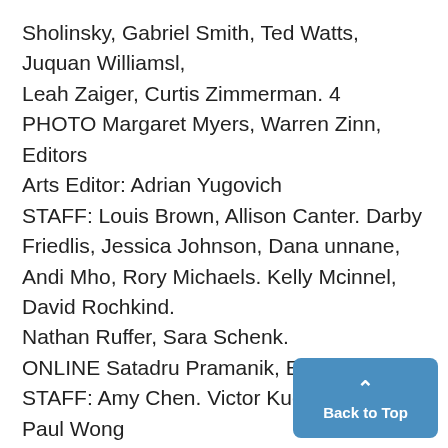Sholinsky, Gabriel Smith, Ted Watts, Juquan Williamsl,
Leah Zaiger, Curtis Zimmerman. 4
PHOTO Margaret Myers, Warren Zinn, Editors
Arts Editor: Adrian Yugovich
STAFF: Louis Brown, Allison Canter. Darby Friedlis, Jessica Johnson, Dana unnane, Andi Mho, Rory Michaels. Kelly Mcinnel, David Rochkind.
Nathan Ruffer, Sara Schenk.
ONLINE Satadru Pramanik, Edit
STAFF: Amy Chen. Victor Kucek,
Paul Wong